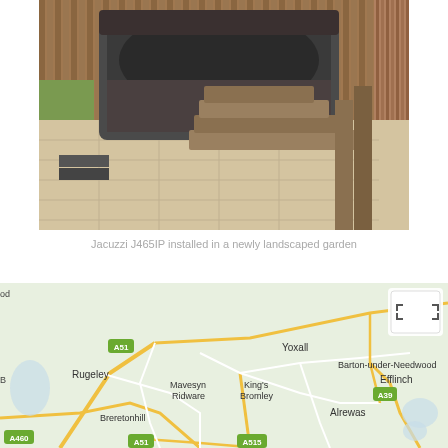[Figure (photo): Outdoor hot tub (Jacuzzi J465IP) installed on a newly landscaped garden patio with wooden sleeper steps leading up to it, surrounded by wooden fencing]
Jacuzzi J465IP installed in a newly landscaped garden
[Figure (map): Google Maps screenshot showing an area of Staffordshire, England, including locations: Rugeley, Yoxall, Barton-under-Needwood, Mavesyn Ridware, King's Bromley, Efflinch, Breretonhill, Alrewas, with road labels A51, A460, A515, A39, and partial labels 'od' and 'Bran' at edges]